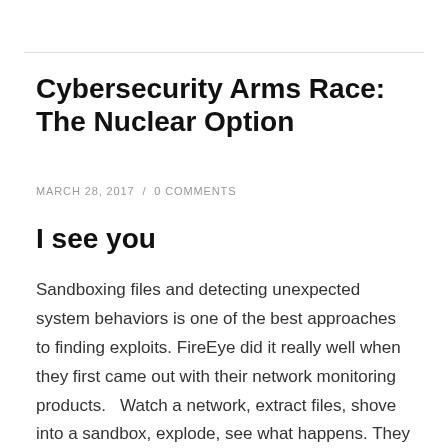Cybersecurity Arms Race: The Nuclear Option
MARCH 28, 2017 / 0 COMMENTS
I see you
Sandboxing files and detecting unexpected system behaviors is one of the best approaches to finding exploits.  FireEye did it really well when they first came out with their network monitoring products.   Watch a network, extract files, shove into a sandbox, explode, see what happens.  They were credited with finding a ton of 0-day type events.  Now, we can do the same with open source software.